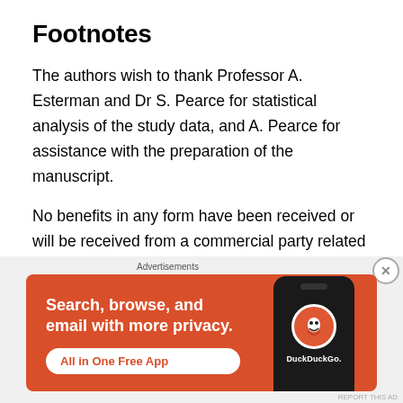Footnotes
The authors wish to thank Professor A. Esterman and Dr S. Pearce for statistical analysis of the study data, and A. Pearce for assistance with the preparation of the manuscript.
No benefits in any form have been received or will be received from a commercial party related directly or indirectly to the subject of this article.
[Figure (other): DuckDuckGo advertisement banner: orange background with text 'Search, browse, and email with more privacy. All in One Free App' and a phone showing the DuckDuckGo logo.]